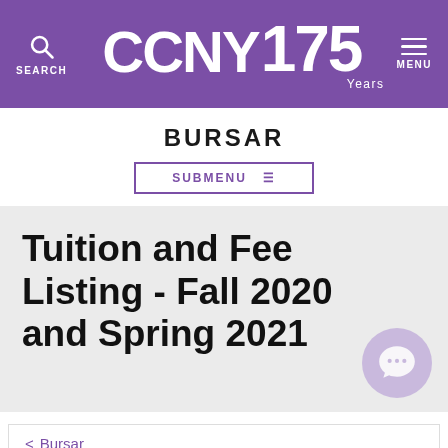CCNY 175 Years — SEARCH | MENU
BURSAR
SUBMENU
Tuition and Fee Listing - Fall 2020 and Spring 2021
< Bursar